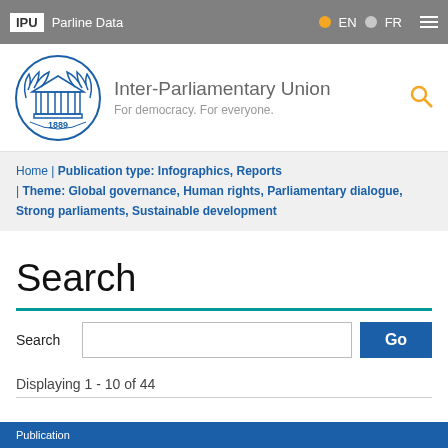IPU | Parline Data | EN | FR
[Figure (logo): Inter-Parliamentary Union logo with laurel wreath, parliament building, and year 1889]
Inter-Parliamentary Union
For democracy. For everyone.
Home | Publication type: Infographics, Reports | Theme: Global governance, Human rights, Parliamentary dialogue, Strong parliaments, Sustainable development
Search
Search
Displaying 1 - 10 of 44